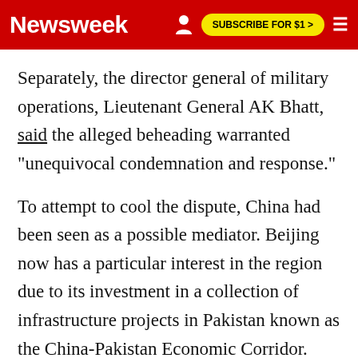Newsweek | SUBSCRIBE FOR $1 >
Separately, the director general of military operations, Lieutenant General AK Bhatt, said the alleged beheading warranted "unequivocal condemnation and response."
To attempt to cool the dispute, China had been seen as a possible mediator. Beijing now has a particular interest in the region due to its investment in a collection of infrastructure projects in Pakistan known as the China-Pakistan Economic Corridor. However, China Wednesday denied it has any plans to mediate